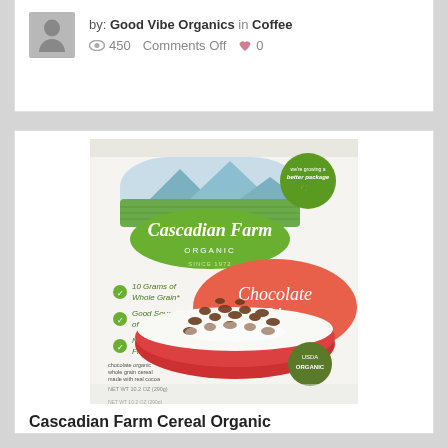by: Good Vibe Organics in Coffee
450   Comments Off   0
[Figure (photo): Cascadian Farm Organic Chocolate O's cereal box showing a red bowl filled with chocolate cereal rings, with product claims: 10 Grams of Whole Grain, Good Source of Fiber, No Artificial Flavors. NET WT 10.2 OZ (290g).]
Cascadian Farm Cereal Organic